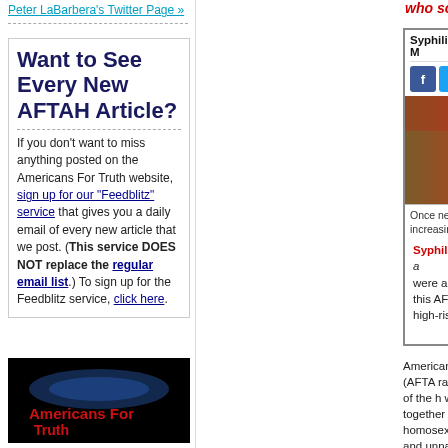Peter LaBarbera's Twitter Page »
Want to See Every New AFTAH Article?
If you don't want to miss anything posted on the Americans For Truth website, sign up for our "Feedblitz" service that gives you a daily email of every new article that we post. (This service DOES NOT replace the regular email list.) To sign up for the Feedblitz service, click here.
[Figure (screenshot): AFTAH logo/Americans For Truth branding image]
who sodomize other men
Syphilis & MSM (Men Who Have Sex With M...
[Figure (photo): Photo of three men sitting together]
Once nearly eliminated in the U.S., syphilis is increasing... men (MSM).
Syphilis: The New "Gay" Disease: In 2014, ... were among "men who have sex with men"... this AFTAH article about homosexual men... high-risk LGBTQ lifestyles with your dona... The above is a CD...
Americans For Truth About Homosexuality (AFTA... radically-biased "cheerleading" coverage of the h... working on several projects that will pull together... the extreme health risks of homosexual lifestyles...